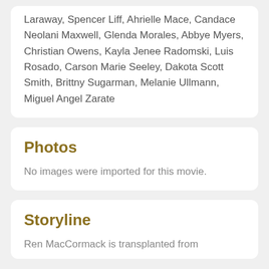Laraway, Spencer Liff, Ahrielle Mace, Candace Neolani Maxwell, Glenda Morales, Abbye Myers, Christian Owens, Kayla Jenee Radomski, Luis Rosado, Carson Marie Seeley, Dakota Scott Smith, Brittny Sugarman, Melanie Ullmann, Miguel Angel Zarate
Photos
No images were imported for this movie.
Storyline
Ren MacCormack is transplanted from